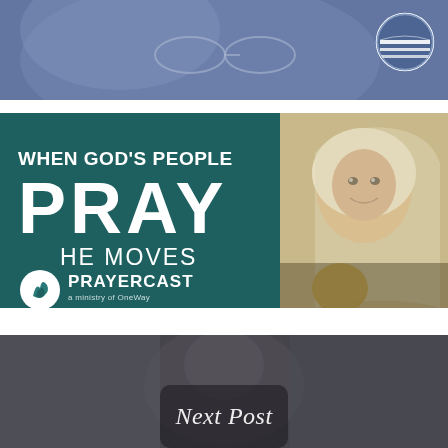[Figure (photo): Top portion of a blue-tinted photograph showing a person with glasses and a globe/world logo in the upper right corner]
[Figure (infographic): Prayercast ministry advertisement banner with dark teal background on left side showing text 'WHEN GOD'S PEOPLE PRAY HE MOVES' with Prayercast logo and 'a ministry of OneWay', and right side showing a sepia-toned photo of a smiling African girl wearing a white hijab with a child below]
[Figure (photo): Bottom photograph showing a person in dark clothing against a blurred background with 'Next Post' text overlay in italic white]
Next Post